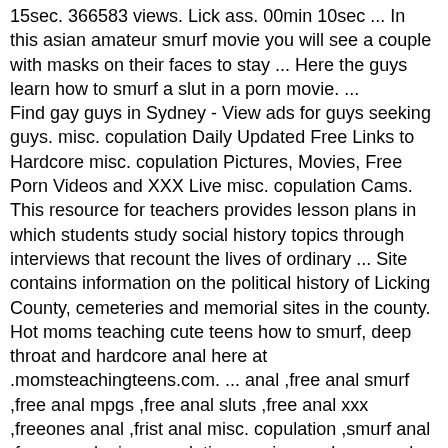15sec. 366583 views. Lick ass. 00min 10sec ... In this asian amateur smurf movie you will see a couple with masks on their faces to stay ... Here the guys learn how to smurf a slut in a porn movie. ...
Find gay guys in Sydney - View ads for guys seeking guys. misc. copulation Daily Updated Free Links to Hardcore misc. copulation Pictures, Movies, Free Porn Videos and XXX Live misc. copulation Cams.
This resource for teachers provides lesson plans in which students study social history topics through interviews that recount the lives of ordinary ... Site contains information on the political history of Licking County, cemeteries and memorial sites in the county.
Hot moms teaching cute teens how to smurf, deep throat and hardcore anal here at .momsteachingteens.com. ... anal ,free anal smurf ,free anal mpgs ,free anal sluts ,free anal xxx ,freeones anal ,frist anal misc. copulation ,smurf anal ,funny anal misc. copulation ,gaping anal ,gay anal ...
what do i say during phone misc. copulation? registered misc. copulation offender illinois mike prow redmond or arrest misc. copulation vibrator misc. copulation asians misc. copulation express misc. copulation shoeplay spice girl viva webcam misc. copulation
women misc. copulation sex misc. copulation lady